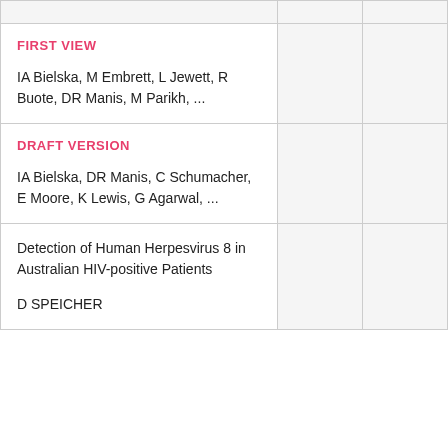| Article |  |  |
| --- | --- | --- |
| FIRST VIEW

IA Bielska, M Embrett, L Jewett, R Buote, DR Manis, M Parikh, ... |  |  |
| DRAFT VERSION

IA Bielska, DR Manis, C Schumacher, E Moore, K Lewis, G Agarwal, ... |  |  |
| Detection of Human Herpesvirus 8 in Australian HIV-positive Patients

D SPEICHER |  |  |